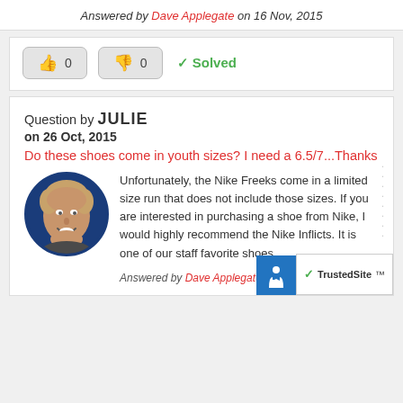Answered by Dave Applegate on 16 Nov, 2015
✓ Solved
Question by JULIE
on 26 Oct, 2015
Do these shoes come in youth sizes? I need a 6.5/7...Thanks
[Figure (photo): Circular avatar photo of Dave Applegate, a man with light hair smiling, against a dark blue circular background]
Unfortunately, the Nike Freeks come in a limited size run that does not include those sizes. If you are interested in purchasing a shoe from Nike, I would highly recommend the Nike Inflicts. It is one of our staff favorite shoes.
Answered by Dave Applegate on Oct, 2015